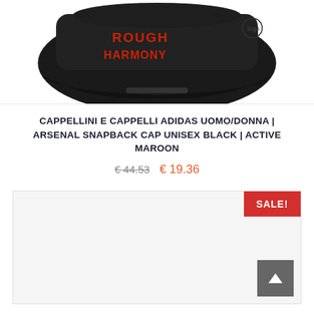[Figure (photo): Black Adidas Arsenal Snapback cap with red embroidered text, shown at an angle on white background]
CAPPELLINI E CAPPELLI ADIDAS UOMO/DONNA | ARSENAL SNAPBACK CAP UNISEX BLACK | ACTIVE MAROON
€ 44.53  € 19.36
[Figure (photo): Second product card with SALE! badge in red top right corner, gray scroll-to-top button bottom right]